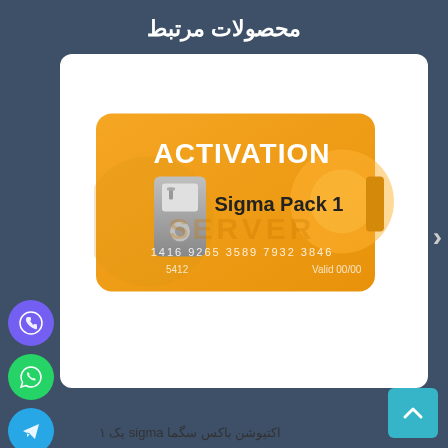محصولات مرتبط
[Figure (illustration): Orange activation card for Sigma Pack 1 with card number 1416 9265 3589 7932 3846, 5412, Valid 00/00, with USB dongle graphic and ACTIVATION text]
اکتیوشن باکس سگما sigma یک ۱